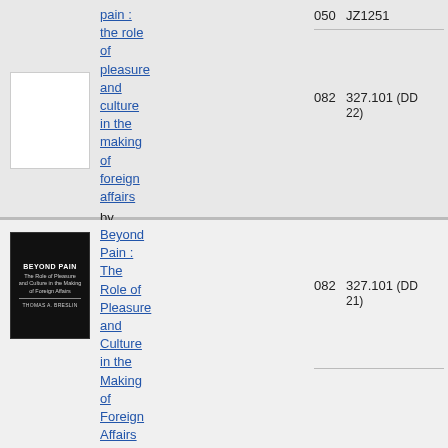pain : the role of pleasure and culture in the making of foreign affairs by Breslin, Thomas A.
eng
8
050  JZ1251
082  327.101 (DD 22)
[Figure (other): White blank book cover thumbnail]
[Figure (photo): Book cover of 'Beyond Pain: The Role of Pleasure and Culture in the Making of Foreign Affairs' by Thomas A. Breslin, black cover with white text]
Beyond Pain : The Role of Pleasure and Culture in the Making of Foreign Affairs
eng
5
082  327.101 (DD 21)